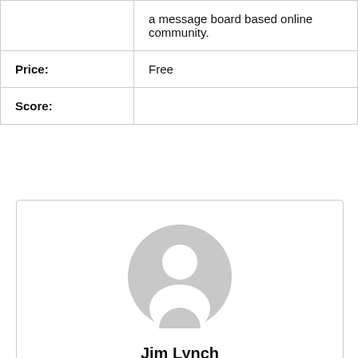| Field | Value |
| --- | --- |
|  | a message board based online community. |
| Price: | Free |
| Score: |  |
[Figure (illustration): Generic user avatar icon — a grey circle with a white silhouette of a person (head and shoulders)]
Jim Lynch
Jim is respo es. He